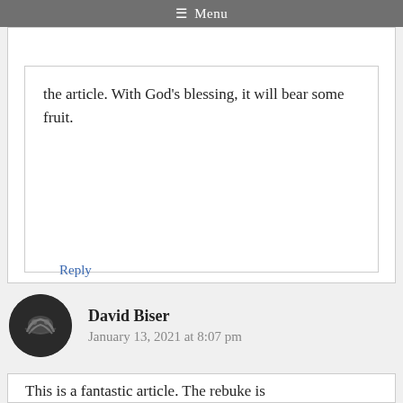≡ Menu
the article. With God's blessing, it will bear some fruit.
Reply
David Biser
January 13, 2021 at 8:07 pm
This is a fantastic article. The rebuke is necessary when so many who call themselves Pastors or Elders refuse to preach the whole counsel of God! Thank you for writing this piece.